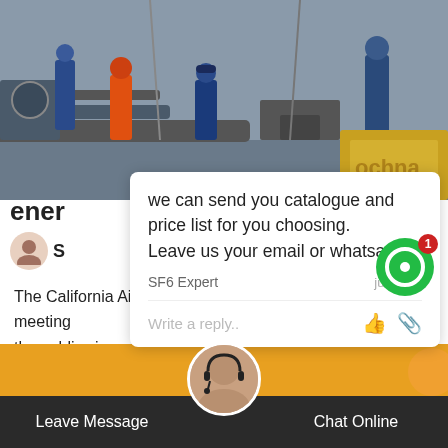[Figure (photo): Industrial workers in orange and blue coveralls working near pipes and heavy equipment on what appears to be an industrial facility. Yellow equipment visible at right.]
we can send you catalogue and price list for you choosing.
Leave us your email or whatsapp.
SF6 Expert    just now
Write a reply..
ener
GIS zero
S
The California Air Resources Board typically has monthly meeting prior to the meeting the public via remote participation only, and also are available via webcast.
Continue
Leave Message
Chat Online